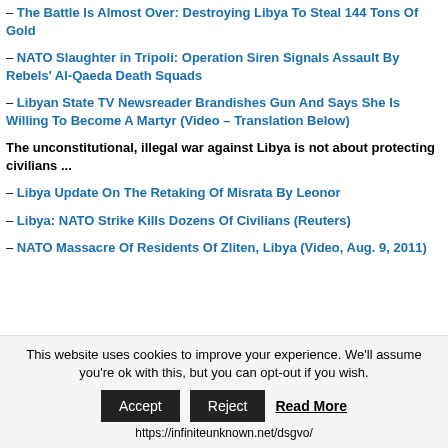– The Battle Is Almost Over: Destroying Libya To Steal 144 Tons Of Gold
– NATO Slaughter in Tripoli: Operation Siren Signals Assault By Rebels' Al-Qaeda Death Squads
– Libyan State TV Newsreader Brandishes Gun And Says She Is Willing To Become A Martyr (Video – Translation Below)
The unconstitutional, illegal war against Libya is not about protecting civilians ...
– Libya Update On The Retaking Of Misrata By Leonor
– Libya: NATO Strike Kills Dozens Of Civilians (Reuters)
– NATO Massacre Of Residents Of Zliten, Libya (Video, Aug. 9, 2011)
This website uses cookies to improve your experience. We'll assume you're ok with this, but you can opt-out if you wish.
Accept  Reject  Read More
https://infiniteunknown.net/dsgvo/